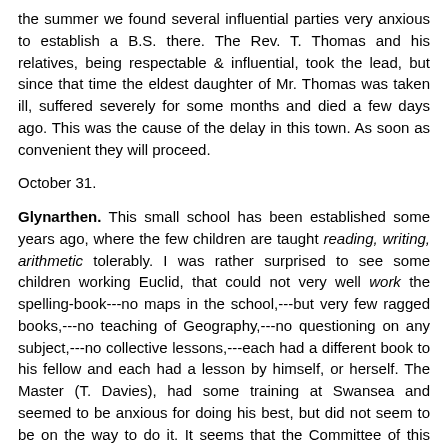the summer we found several influential parties very anxious to establish a B.S. there. The Rev. T. Thomas and his relatives, being respectable & influential, took the lead, but since that time the eldest daughter of Mr. Thomas was taken ill, suffered severely for some months and died a few days ago. This was the cause of the delay in this town. As soon as convenient they will proceed.
October 31.
Glynarthen. This small school has been established some years ago, where the few children are taught reading, writing, arithmetic tolerably. I was rather surprised to see some children working Euclid, that could not very well work the spelling-book---no maps in the school,---but very few ragged books,---no teaching of Geography,---no questioning on any subject,---no collective lessons,---each had a different book to his fellow and each had a lesson by himself, or herself. The Master (T. Davies), had some training at Swansea and seemed to be anxious for doing his best, but did not seem to be on the way to do it. It seems that the Committee of this School have an objection to Government aid in Eductaion.
November 1.